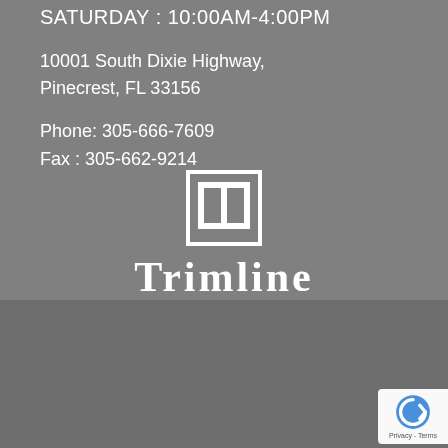SATURDAY : 10:00AM-4:00PM
10001 South Dixie Highway, Pinecrest, FL 33156
Phone: 305-666-7609
Fax : 305-662-9214
[Figure (logo): Trimline Design Center logo: white square icon with window/trim design above the text TRIMLINE DESIGN CENTER]
Proudly Serving Miami, Miami Beach, Miami Lakes, Brickell, South Miami, Coconut Grove, Coral Gables, Kendall, Pinecrest, Key Largo, Key Biscayne, Palmetto Bay, FL and the Surrounding Areas.
Copyright © 2022, Trimline Design Center. License